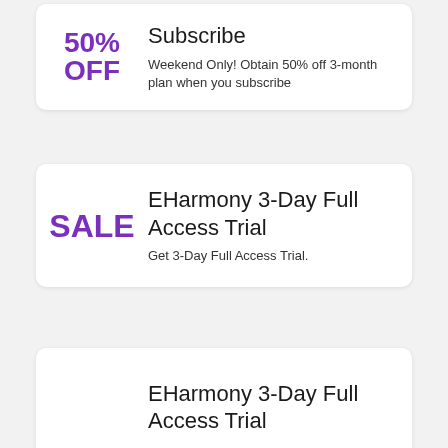50% OFF
Subscribe
Weekend Only! Obtain 50% off 3-month plan when you subscribe
SALE
EHarmony 3-Day Full Access Trial
Get 3-Day Full Access Trial.
EHarmony 3-Day Full Access Trial